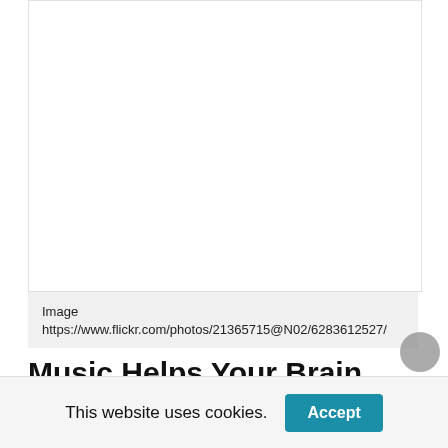[Figure (photo): White/blank image placeholder area at top of page]
Image https://www.flickr.com/photos/21365715@N02/6283612527/
Music Helps Your Brain
Thank your mother for making you practice the piano. Playing a tool early in life pays off in better thinking when you are older. Musical experience promotes mental functions that don’t have anything to do with songs, like memory and ability to plan. Additionally, it helps with increased hand coordination. Additionally, it is fun — and it
This website uses cookies. Accept